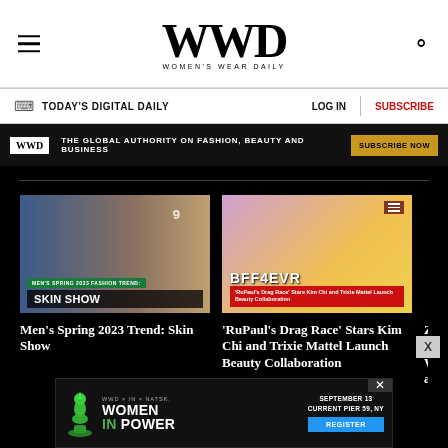WWD WOMEN'S WEAR DAILY
TODAY'S DIGITAL DAILY | LOG IN | SUBSCRIBE
WWD — THE GLOBAL AUTHORITY ON FASHION, BEAUTY AND BUSINESS — SUBSCRIBE NOW
[Figure (photo): Men's Spring 2023 fashion runway photo with overlay text SKIN SHOW]
Men's Spring 2023 Trend: Skin Show
[Figure (photo): RuPaul's Drag Race stars Kim Chi and Trixie Mattel in colorful drag attire with BFF4EVR overlay]
'RuPaul's Drag Race' Stars Kim Chi and Trixie Mattel Launch Beauty Collaboration
[Figure (infographic): WWD Women In Power event ad banner — September 13, Current Pier 59 NY, Register button, chess queen figure]